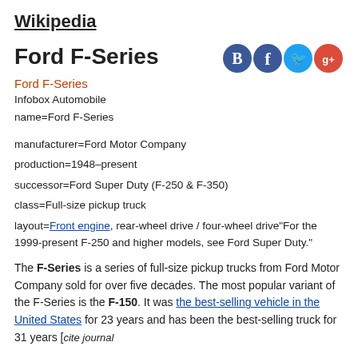Wikipedia
Ford F-Series
Ford F-Series
Infobox Automobile
name=Ford F-Series
manufacturer=Ford Motor Company
production=1948–present
successor=Ford Super Duty (F-250 & F-350)
class=Full-size pickup truck
layout=Front engine, rear-wheel drive / four-wheel drive"For the 1999-present F-250 and higher models, see Ford Super Duty."
The F-Series is a series of full-size pickup trucks from Ford Motor Company sold for over five decades. The most popular variant of the F-Series is the F-150. It was the best-selling vehicle in the United States for 23 years and has been the best-selling truck for 31 years [cite journal